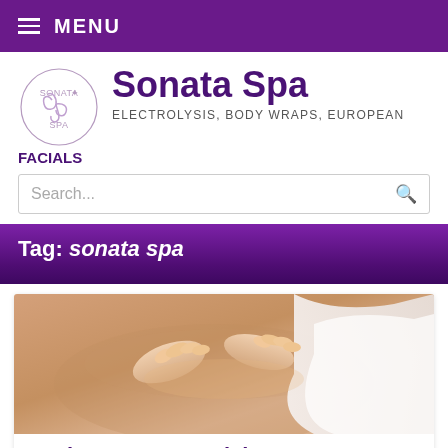MENU
[Figure (logo): Sonata Spa logo with decorative swirl]
Sonata Spa
ELECTROLYSIS, BODY WRAPS, EUROPEAN FACIALS
Search...
Tag: sonata spa
[Figure (photo): Close-up of hands performing a back massage on a person covered with white towel]
Mother's Day Special!
ON MAY 4, 2016 • ( LEAVE A COMMENT )
The giving someone a Mother's...